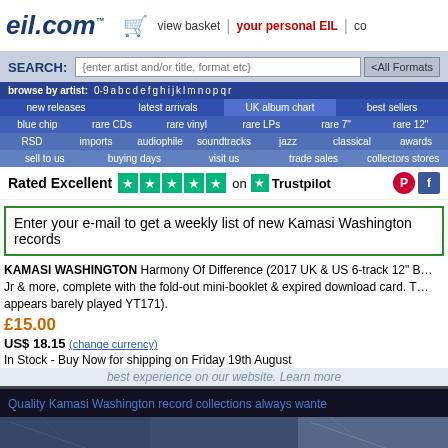eil.com™ — view basket | your personal EIL | co
SEARCH: {enter artist and/or title, format etc} <All Formats>
browse by artist: 0-9 a b c d e f g h i j k l m n o p q r
new releases | latest arrivals | UK album chart | best sellers
blue chip | rare CDs | rare vinyl | rare LPs | rare 7" | rare 12"
RSD | imports | audiophile | soundtracks | jazz | classical | awards
sell to us | buying days | visit us | trade sales | collectors stores
Rated Excellent ★★★★★ on ★ Trustpilot
Enter your e-mail to get a weekly list of new Kamasi Washington records
KAMASI WASHINGTON Harmony Of Difference (2017 UK & US 6-track 12" B… Jr & more, complete with the fold-out mini-booklet & expired download card. T… appears barely played YT171).
£15.00
US$ 18.15 (change currency)
In Stock - Buy Now for shipping on Friday 19th August
Quality Kamasi Washington record collections always wante…
[Figure (photo): Partial album cover image of Kamasi Washington Harmony Of Difference, dark blue/grey tones]